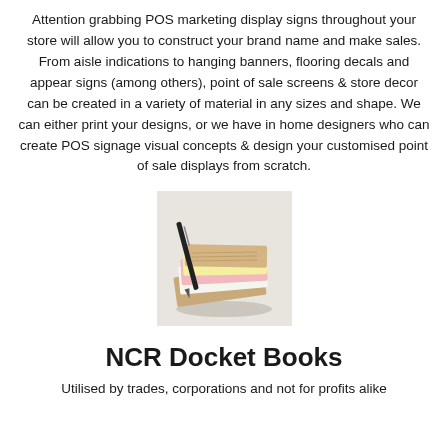Attention grabbing POS marketing display signs throughout your store will allow you to construct your brand name and make sales. From aisle indications to hanging banners, flooring decals and appear signs (among others), point of sale screens & store decor can be created in a variety of material in any sizes and shape. We can either print your designs, or we have in home designers who can create POS signage visual concepts & design your customised point of sale displays from scratch.
[Figure (photo): A stack of NCR docket books (carbonless copy paper booklets) with tan/brown covers and coloured pages (white, pink, yellow) and a pen, on a white background.]
NCR Docket Books
Utilised by trades, corporations and not for profits alike